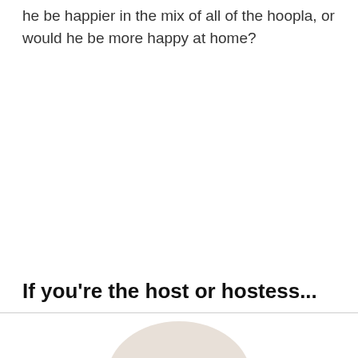he be happier in the mix of all of the hoopla, or would he be more happy at home?
If you're the host or hostess...
[Figure (illustration): Partial view of a light beige/cream rounded object (possibly an egg or decorative item) visible at the bottom of the page below a horizontal rule.]